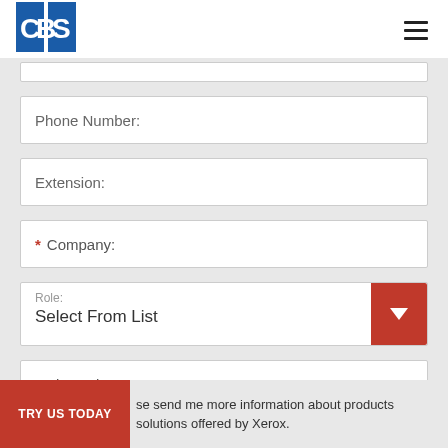[Figure (logo): CBS company logo — white text on blue background with two blue squares]
Phone Number:
Extension:
* Company:
Role: Select From List
* Zip Code:
TRY US TODAY   se send me more information about products solutions offered by Xerox.